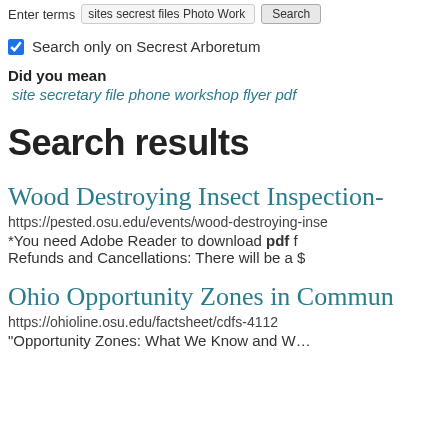Enter terms  sites secrest files Photo Work  Search
Search only on Secrest Arboretum
Did you mean
site secretary file phone workshop flyer pdf
Search results
Wood Destroying Insect Inspection-
https://pested.osu.edu/events/wood-destroying-inse
*You need Adobe Reader to download pdf f
Refunds and Cancellations:  There will be a $
Ohio Opportunity Zones in Commun
https://ohioline.osu.edu/factsheet/cdfs-4112
“Opportunity Zones: What We Know and W…